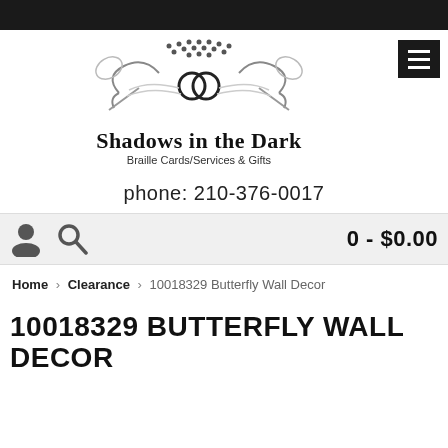[Figure (logo): Shadows in the Dark logo with decorative swirls, keys, and braille dots. Text: Shadows in the Dark, Braille Cards/Services & Gifts]
phone: 210-376-0017
0 - $0.00
Home > Clearance > 10018329 Butterfly Wall Decor
10018329 BUTTERFLY WALL DECOR